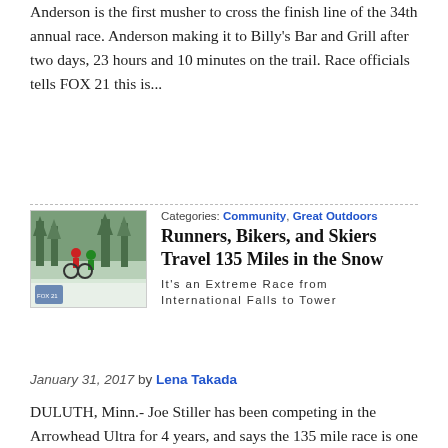Anderson is the first musher to cross the finish line of the 34th annual race. Anderson making it to Billy's Bar and Grill after two days, 23 hours and 10 minutes on the trail. Race officials tells FOX 21 this is...
[Figure (photo): Photo of bikers with fat-tire bikes in snowy forested terrain]
Categories: Community, Great Outdoors
Runners, Bikers, and Skiers Travel 135 Miles in the Snow
It's an Extreme Race from International Falls to Tower
January 31, 2017 by Lena Takada
DULUTH, Minn.- Joe Stiller has been competing in the Arrowhead Ultra for 4 years, and says the 135 mile race is one of his favorites. "This has a real tight family community, more than any other race that I do," says Stiller. The race starts in International Falls Minnesota, and Ends in Tower. Competitors pack gear like sleeping